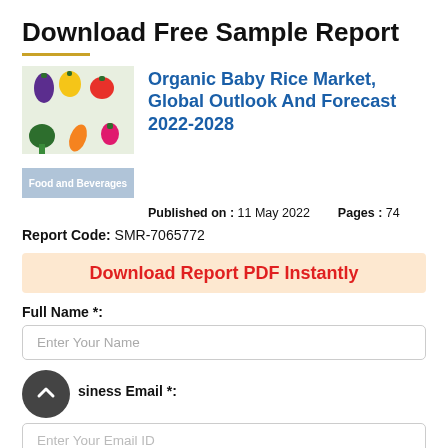Download Free Sample Report
[Figure (illustration): Book cover thumbnail showing vegetables and fruits with text 'Food and Beverages']
Organic Baby Rice Market, Global Outlook And Forecast 2022-2028
Published on : 11 May 2022    Pages : 74
Report Code: SMR-7065772
Download Report PDF Instantly
Full Name *:
Enter Your Name
Business Email *:
Enter Your Email ID